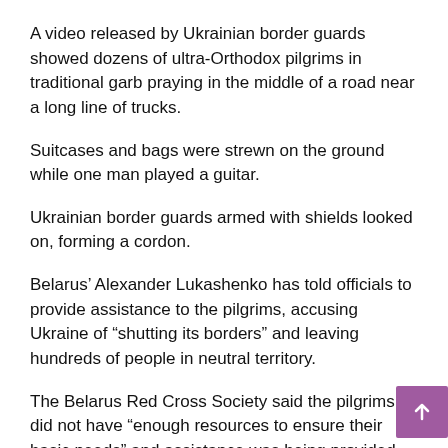A video released by Ukrainian border guards showed dozens of ultra-Orthodox pilgrims in traditional garb praying in the middle of a road near a long line of trucks.
Suitcases and bags were strewn on the ground while one man played a guitar.
Ukrainian border guards armed with shields looked on, forming a cordon.
Belarus’ Alexander Lukashenko has told officials to provide assistance to the pilgrims, accusing Ukraine of “shutting its borders” and leaving hundreds of people in neutral territory.
The Belarus Red Cross Society said the pilgrims did not have “enough resources to ensure their basic needs” and assistance was being provided, particularly to parents with children, the elderly and people with disabilities.